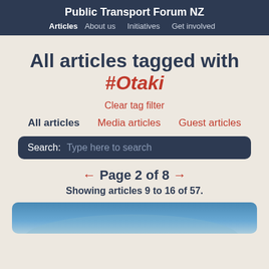Public Transport Forum NZ | Articles  About us  Initiatives  Get involved
All articles tagged with #Otaki
Clear tag filter
All articles  Media articles  Guest articles
Search: Type here to search
← Page 2 of 8 →
Showing articles 9 to 16 of 57.
[Figure (photo): Blue article preview image at bottom of page]